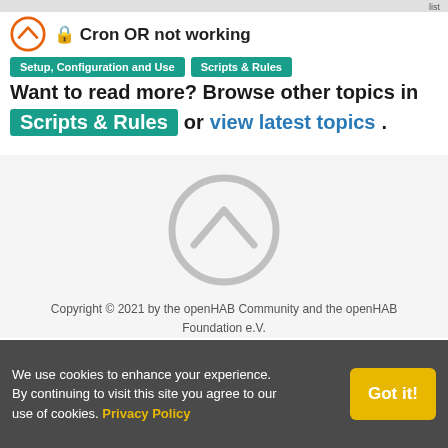Cron OR not working | Setup, Configuration and Use | Scripts & Rules
Want to read more? Browse other topics in Scripts & Rules or view latest topics.
[Figure (logo): openHAB logo — circle with chevron, large gray watermark version in footer]
Copyright © 2021 by the openHAB Community and the openHAB Foundation e.V.
Privacy policy | Imprint
[Figure (illustration): Social media icons row: Twitter bird, envelope/email, GitHub cat]
We use cookies to enhance your experience. By continuing to visit this site you agree to our use of cookies. Privacy Policy